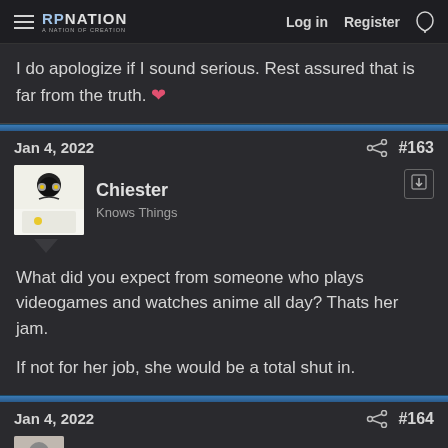RP Nation | Log in | Register
I do apologize if I sound serious. Rest assured that is far from the truth. ❤️
Jan 4, 2022  #163
Chiester
Knows Things
What did you expect from someone who plays videogames and watches anime all day? Thats her jam.

If not for her job, she would be a total shut in.
Jan 4, 2022  #164
Belias